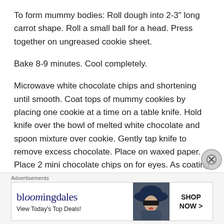To form mummy bodies: Roll dough into 2-3" long carrot shape. Roll a small ball for a head. Press together on ungreased cookie sheet.
Bake 8-9 minutes. Cool completely.
Microwave white chocolate chips and shortening until smooth. Coat tops of mummy cookies by placing one cookie at a time on a table knife. Hold knife over the bowl of melted white chocolate and spoon mixture over cookie. Gently tap knife to remove excess chocolate. Place on waxed paper. Place 2 mini chocolate chips on for eyes. As coating begins to set on cookies, use a toothpick to score lines into the
Advertisements
[Figure (other): Bloomingdales advertisement banner with logo, 'View Today's Top Deals!' tagline, woman with hat photo, and 'SHOP NOW >' button]